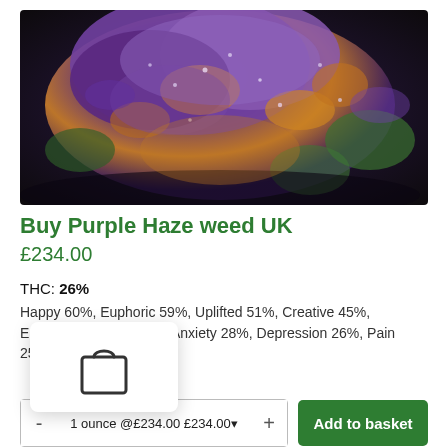[Figure (photo): Close-up photo of purple haze cannabis buds with purple, orange, and green coloring against a dark background]
Buy Purple Haze weed UK
£234.00
THC: 26%
Happy 60%, Euphoric 59%, Uplifted 51%, Creative 45%, Energetic 39%, Stress 36%, Anxiety 28%, Depression 26%, Pain 25%, Headache 12%
[Figure (illustration): Shopping bag icon popup overlay]
- 1 ounce @£234.00 £234.00 + Add to basket